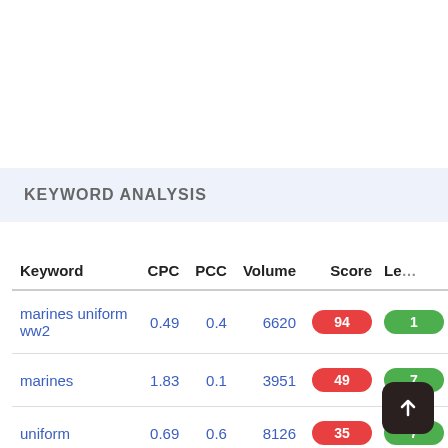KEYWORD ANALYSIS
| Keyword | CPC | PCC | Volume | Score | Le |
| --- | --- | --- | --- | --- | --- |
| marines uniform ww2 | 0.49 | 0.4 | 6620 | 94 | 1 |
| marines | 1.83 | 0.1 | 3951 | 49 | 7 |
| uniform | 0.69 | 0.6 | 8126 | 35 | 7 |
| ww2 | 0.83 | 0.1 | 428 | 31 |  |